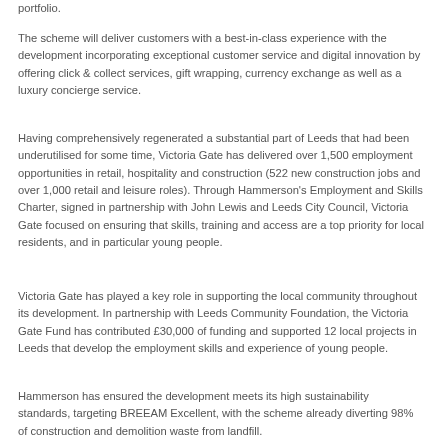portfolio.
The scheme will deliver customers with a best-in-class experience with the development incorporating exceptional customer service and digital innovation by offering click & collect services, gift wrapping, currency exchange as well as a luxury concierge service.
Having comprehensively regenerated a substantial part of Leeds that had been underutilised for some time, Victoria Gate has delivered over 1,500 employment opportunities in retail, hospitality and construction (522 new construction jobs and over 1,000 retail and leisure roles). Through Hammerson's Employment and Skills Charter, signed in partnership with John Lewis and Leeds City Council, Victoria Gate focused on ensuring that skills, training and access are a top priority for local residents, and in particular young people.
Victoria Gate has played a key role in supporting the local community throughout its development. In partnership with Leeds Community Foundation, the Victoria Gate Fund has contributed £30,000 of funding and supported 12 local projects in Leeds that develop the employment skills and experience of young people.
Hammerson has ensured the development meets its high sustainability standards, targeting BREEAM Excellent, with the scheme already diverting 98% of construction and demolition waste from landfill.